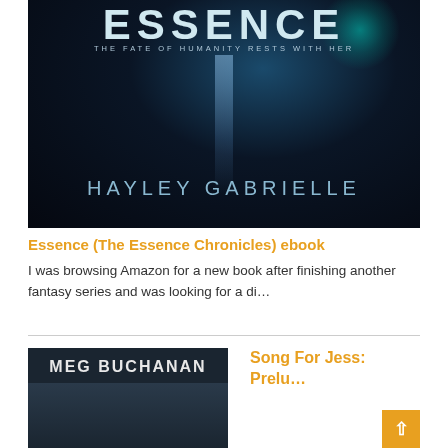[Figure (photo): Book cover for 'Essence (The Essence Chronicles)' by Hayley Gabrielle. Dark navy/space background with cyan glow in top right. Large title text 'ESSENCE' at top, subtitle 'THE FATE OF HUMANITY RESTS WITH HER', light beam in center, author name 'HAYLEY GABRIELLE' near bottom.]
Essence (The Essence Chronicles) ebook
I was browsing Amazon for a new book after finishing another fantasy series and was looking for a di...
[Figure (photo): Bottom portion of a book cover by Meg Buchanan, showing author name 'MEG BUCHANAN' in white on dark background with a figure silhouette.]
Song For Jess: Prelu...